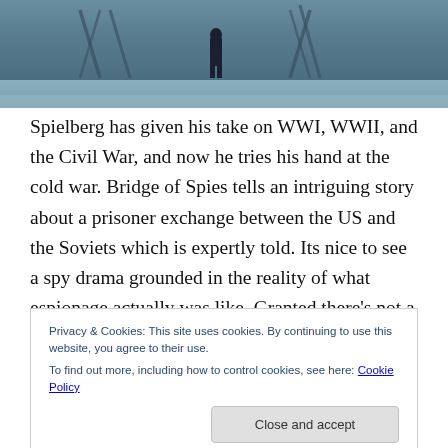[Figure (photo): A film still from Bridge of Spies showing a figure standing on what appears to be a bridge in a cold, wintry scene with construction or bridge structures visible in the background.]
Spielberg has given his take on WWI, WWII, and the Civil War, and now he tries his hand at the cold war. Bridge of Spies tells an intriguing story about a prisoner exchange between the US and the Soviets which is expertly told. Its nice to see a spy drama grounded in the reality of what espionage actually was like. Granted there’s not a whole lot of ‘spy stuff” per se (though the one rare moment we see at the beginning is pretty cool), but there is a lot of the
Privacy & Cookies: This site uses cookies. By continuing to use this website, you agree to their use.
To find out more, including how to control cookies, see here: Cookie Policy
Close and accept
American and Soviet ideals, and the ideas of what is and